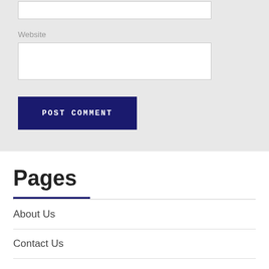Website
POST COMMENT
Pages
About Us
Contact Us
Home
Our Products
Our Shops
Contact